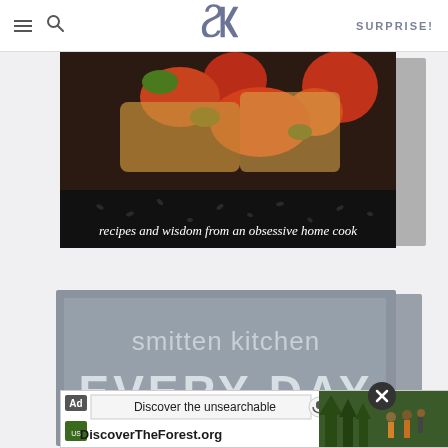SK logo | SURPRISE!
[Figure (photo): Smitten Kitchen cookbook cover showing food with tomatoes and bread, with text 'recipes and wisdom from an obsessive home cook']
[Figure (photo): Smitten Kitchen Every Day cookbook cover, gray with white text reading 'smitten kitchen EVERY DAY']
[Figure (screenshot): Ad banner: 'Discover the unsearchable' and 'DiscoverTheForest.org' with forest photo and people hiking]